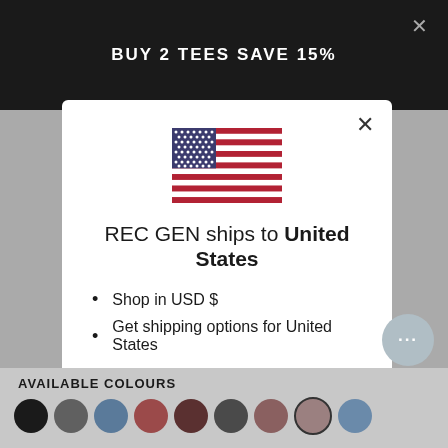BUY 2 TEES SAVE 15%
[Figure (illustration): US flag illustration inside modal dialog]
REC GEN ships to United States
Shop in USD $
Get shipping options for United States
Shop now
Change shipping country
AVAILABLE COLOURS